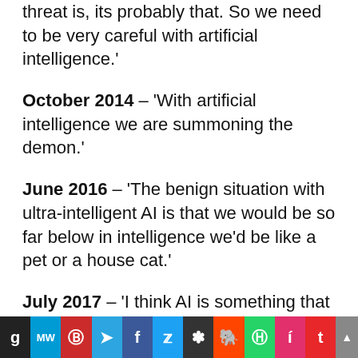threat is, its probably that. So we need to be very careful with artificial intelligence.'
October 2014 – 'With artificial intelligence we are summoning the demon.'
June 2016 – 'The benign situation with ultra-intelligent AI is that we would be so far below in intelligence we'd be like a pet or a house cat.'
July 2017 – 'I think AI is something that is risky at the civilization level, not merely at the individual risk level, and that's why it really demands a lot of safety research.'